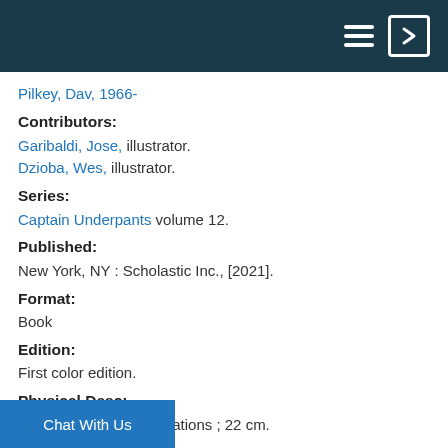Pilkey, Dav, 1966-
Contributors:
Garibaldi, Jose, illustrator.
Dzioba, Wes, illustrator.
Series:
Captain Underpants volume 12.
Published:
New York, NY : Scholastic Inc., [2021].
Format:
Book
Edition:
First color edition.
Physical Desc:
205 pages : color illustrations ; 22 cm.
Accelerated Reader:
IL: MG - BL: 4.9 - AR Pts: 2
Lexile measure:
800L
Rati...